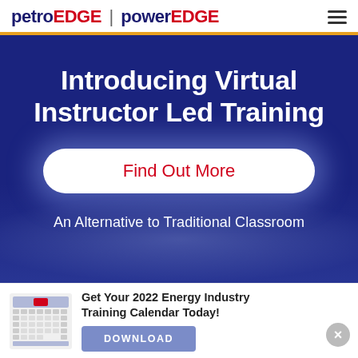petroEDGE | powerEDGE
Introducing Virtual Instructor Led Training
Find Out More
An Alternative to Traditional Classroom
Get Your 2022 Energy Industry Training Calendar Today!
DOWNLOAD